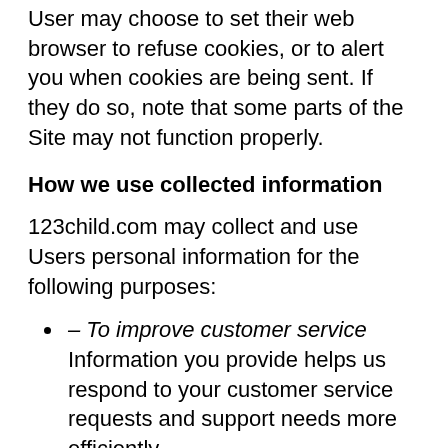User may choose to set their web browser to refuse cookies, or to alert you when cookies are being sent. If they do so, note that some parts of the Site may not function properly.
How we use collected information
123child.com may collect and use Users personal information for the following purposes:
– To improve customer service Information you provide helps us respond to your customer service requests and support needs more efficiently.
– To personalize user experience We may use information in the aggregate to understand how our Users as a group use the services and resources provided on our Site.
– To improve our Site